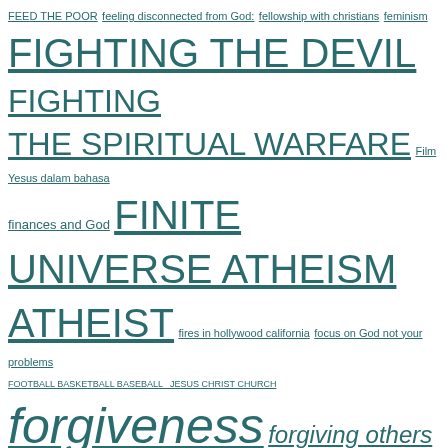FEED THE POOR feeling disconnected from God: fellowship with christians feminism FIGHTING THE DEVIL FIGHTING THE SPIRITUAL WARFARE Film Yesus dalam bahasa finances and God FINITE UNIVERSE ATHEISM ATHEIST fires in hollywood california focus on God not your problems FOOTBALL BASKETBALL BASEBALL JESUS CHRIST CHURCH forgiveness forgiving others Former hindus testimonies francis chan about biggest lies on the earth FRANCIS CHAN ABOUT DEMONS FRANCIS CHAN ASIAN AMERICAN CHRISTIAN PREACHER francis collins frank turek FREEMASON french christian hymns songs music friendships FUNNY funny testimonies GAITHER VOCAL BAND GALACTIC FEDERATION OF LIFE IS A LIE AND SATANIC gambling addiction gangster coming to christ genetic scientist GHANA NIGERIA SOUTH AFRICA GOSPEL CHRISTIAN MUSIC GHANA SOUTH AFRICA NIGERIA LIBERIA IVORY COAST KENYA ZAMBIA SOMALIA ALGERIA MORROCO GHOST HUNTER MEDIUM ghost hunters turned christians GIFT FROM HOLY SPIRIT GOD & WORK ETHICS GOD'S ANGELS GOD'S WORD FOR DIFFICULT UNCERTAIN TIMES CODANSWERINGYOURPRAYER ...